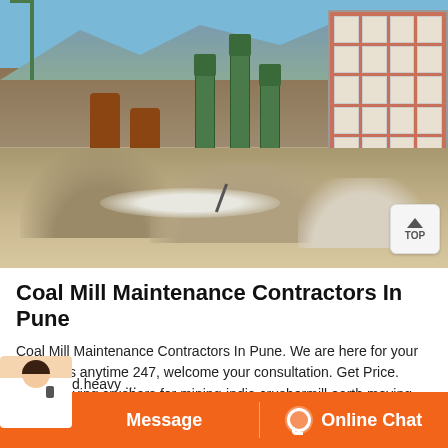[Figure (photo): Industrial mining facility with green towers, orange conveyor drum, rust-colored silos, large brick building on the right, mountains in background, piles of crushed stone/gravel in foreground. Blue sky visible.]
Coal Mill Maintenance Contractors In Pune
Coal Mill Maintenance Contractors In Pune. We are here for your questions anytime 247, welcome your consultation. Get Price. Earth moving crushers for mining-india crushermill earth moving crushers
liming and heavy ...